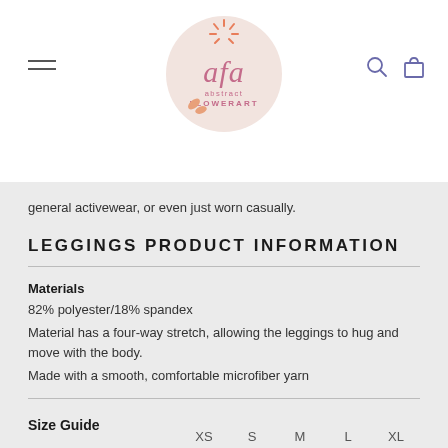[Figure (logo): Abstract Flower Art (afa) logo — circular pink/salmon background with stylized 'afa' lettering and 'abstract FLOWERART' text below]
general activewear, or even just worn casually.
LEGGINGS PRODUCT INFORMATION
Materials
82% polyester/18% spandex
Material has a four-way stretch, allowing the leggings to hug and move with the body.
Made with a smooth, comfortable microfiber yarn
Size Guide
XS    S    M    L    XL